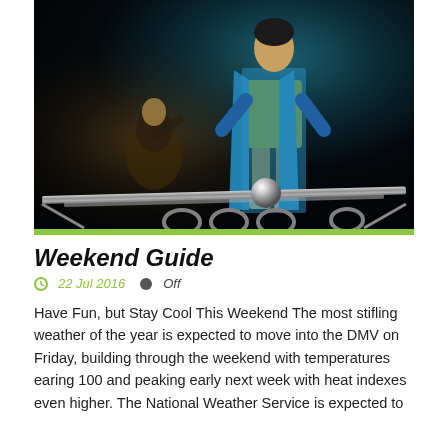[Figure (photo): Circus or acrobatic performance photo. A performer in a bright blue coat and gold/yellow outfit stands on a metal balance beam with a silver ball underneath. A second performer is visible in the dark background to the left. Metal rings hang at the bottom of the frame. Dark dramatic lighting.]
Weekend Guide
22 Jul 2016   Off
Have Fun, but Stay Cool This Weekend The most stifling weather of the year is expected to move into the DMV on Friday, building through the weekend with temperatures earing 100 and peaking early next week with heat indexes even higher. The National Weather Service is expected to